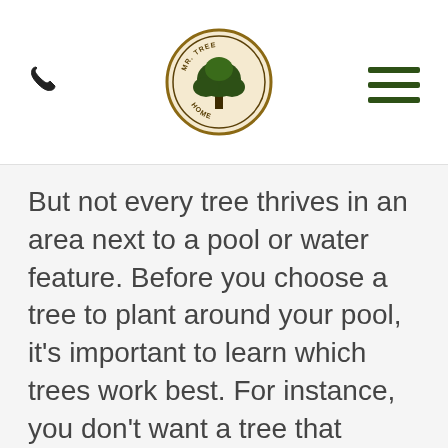Mr. Tree Home [logo] [phone icon] [hamburger menu]
But not every tree thrives in an area next to a pool or water feature. Before you choose a tree to plant around your pool, it’s important to learn which trees work best. For instance, you don’t want a tree that makes a big mess, so choosing a tree that is not that messy is a good idea. Here are five of the best trees for around pools or water features found in your yard.